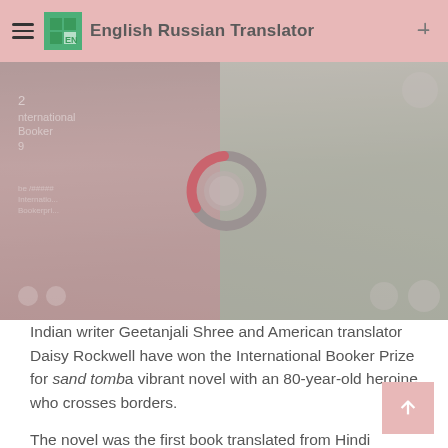English Russian Translator
[Figure (photo): Two women (Geetanjali Shree and Daisy Rockwell) posing together at what appears to be the International Booker Prize ceremony, with a loading spinner/donut overlay in the center of the image.]
Indian writer Geetanjali Shree and American translator Daisy Rockwell have won the International Booker Prize for sand tomb a vibrant novel with an 80-year-old heroine who crosses borders.
The novel was the first book translated from Hindi